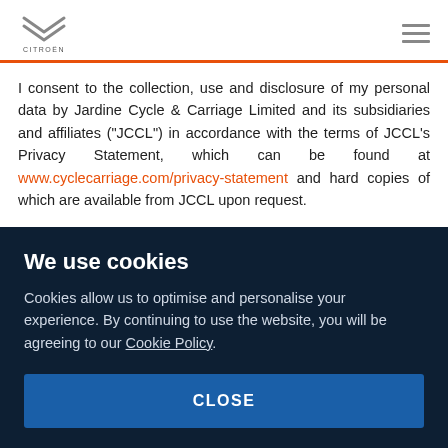Citroën logo and navigation
I consent to the collection, use and disclosure of my personal data by Jardine Cycle & Carriage Limited and its subsidiaries and affiliates ("JCCL") in accordance with the terms of JCCL's Privacy Statement, which can be found at www.cyclecarriage.com/privacy-statement and hard copies of which are available from JCCL upon request.
I wish to receive information about promotions, events and products
We use cookies
Cookies allow us to optimise and personalise your experience. By continuing to use the website, you will be agreeing to our Cookie Policy.
CLOSE